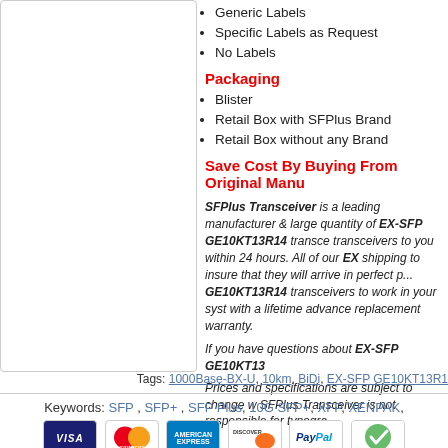Generic Labels
Specific Labels as Request
No Labels
Packaging
Blister
Retail Box with SFPlus Brand
Retail Box without any Brand
Save Cost By Buying From Original Manu...
SFPlus Transceiver is a leading manufacturer & large quantity of EX-SFP GE10KT13R14 transceivers to you within 24 hours. All of our EX... shipping to insure that they will arrive in perfect p... GE10KT13R14 transceivers to work in your syst... with a lifetime advance replacement warranty.
If you have questions about EX-SFP GE10KT13...
Prices and specifications are subject to change w... SFPlus Transceiver is not responsible for typogra...
Tags: 1000Base-BX-U, 10km, BiDi, EX-SFP GE10KT13R1...
Keywords: SFP , SFP+ , SFP Plus, 10G SFP+, XFP, XENPAK,